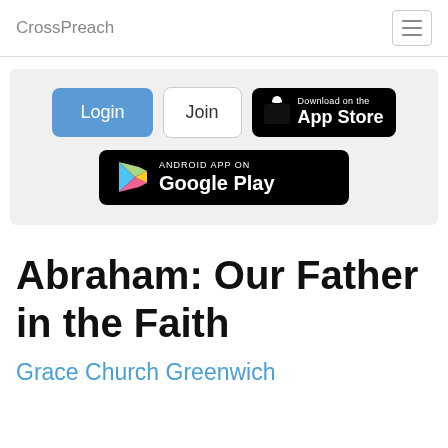CrossPreach
[Figure (screenshot): Navigation banner with Login button (blue), Join button (white), Download on the App Store badge (black), and Android App on Google Play badge (black)]
Abraham: Our Father in the Faith
Grace Church Greenwich